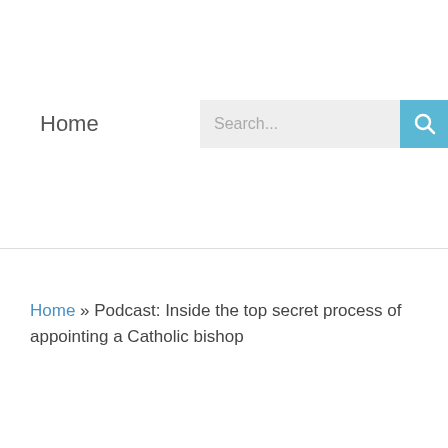Home
Home » Podcast: Inside the top secret process of appointing a Catholic bishop